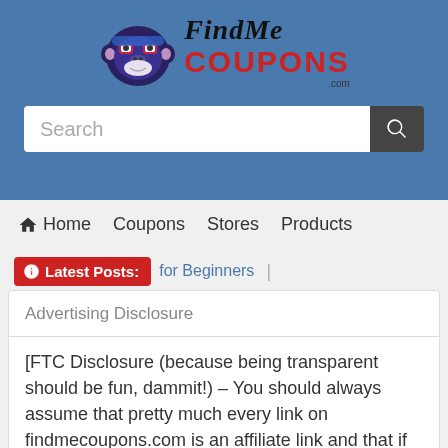[Figure (logo): FindMeCoupons.com logo with gorilla mascot in blue/purple colors and red COUPONS text]
Search
Home
Coupons
Stores
Products
Latest Posts: for Beginners |
Advertising Disclosure
[FTC Disclosure (because being transparent should be fun, dammit!) – You should always assume that pretty much every link on findmecoupons.com is an affiliate link and that if you click it, find something you like and get it,